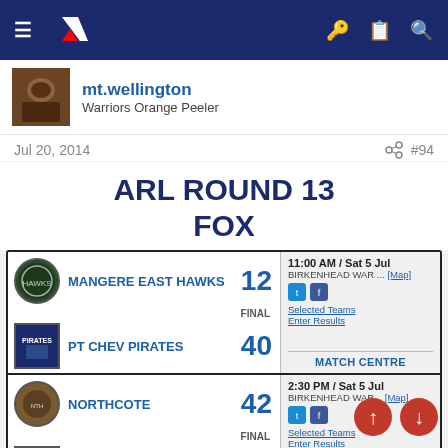Navigation bar with NZ Warriors logo, hamburger menu, key, clipboard, and search icons
mt.wellington
Warriors Orange Peeler
Jul 20, 2014  #94
ARL ROUND 13
FOX
| Team | Score | Time/Venue | Match Info |
| --- | --- | --- | --- |
| MANGERE EAST HAWKS | 12 | 11:00 AM / Sat 5 Jul
BIRKENHEAD WAR ...
[Map] | FINAL
Selected Teams
Enter Results
MATCH CENTRE |
| PT CHEV PIRATES | 40 |  |  |
| NORTHCOTE | 42 | 2:30 PM / Sat 5 Jul
BIRKENHEAD WAR...
[Map] | FINAL
Selected Teams
Enter Results
MATCH CENTRE |
| MARIST | 36 |  |  |